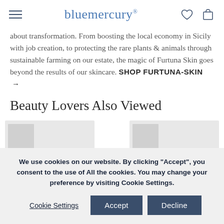bluemercury
about transformation. From boosting the local economy in Sicily with job creation, to protecting the rare plants & animals through sustainable farming on our estate, the magic of Furtuna Skin goes beyond the results of our skincare. SHOP FURTUNA-SKIN →
Beauty Lovers Also Viewed
[Figure (photo): Two Furtuna skin product cards shown side by side, partially visible]
We use cookies on our website. By clicking "Accept", you consent to the use of All the cookies. You may change your preference by visiting Cookie Settings.
Cookie Settings   Accept   Decline